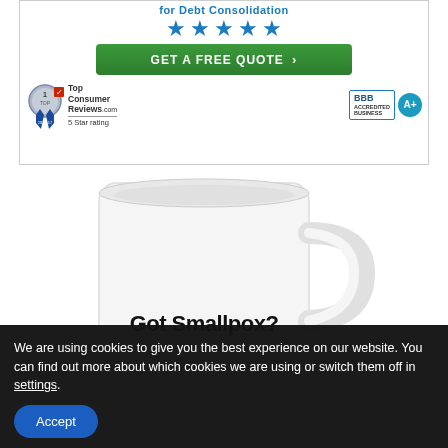[Figure (infographic): Advertisement banner for debt consolidation showing 5 blue stars, a green 'GET A FREE QUOTE ›' button, TopConsumerReviews.com #1 badge with 5 Star rating, and BBB Accredited Business A+ badge]
[Figure (photo): White ceramic mug with text 'Got Smallpox?' printed on it, photographed on white background]
We are using cookies to give you the best experience on our website. You can find out more about which cookies we are using or switch them off in settings.
Accept